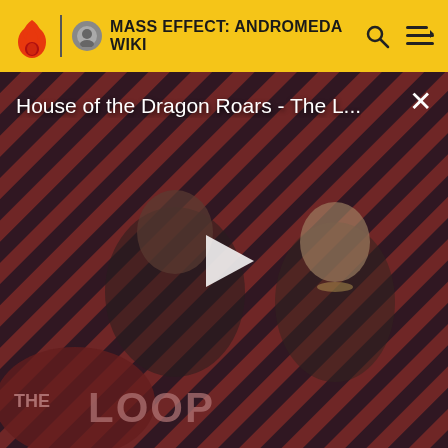MASS EFFECT: ANDROMEDA WIKI
[Figure (screenshot): Video thumbnail for 'House of the Dragon Roars - The L...' showing two characters against a red and black diagonal striped background with a play button in the center and 'THE LOOP' watermark at bottom left]
House of the Dragon Roars - The Loop
displayed and there is no confirmation before the load.
[Figure (photo): Small thumbnail placeholder image (gray box with image icon)]